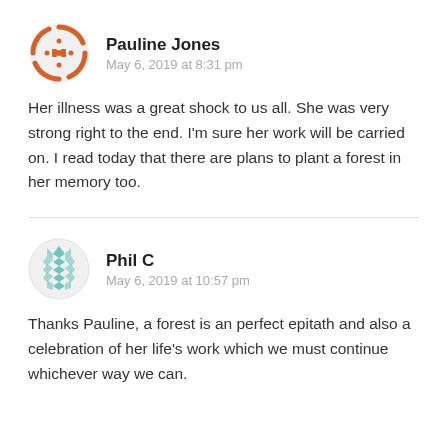Pauline Jones
May 6, 2019 at 8:31 pm
Her illness was a great shock to us all. She was very strong right to the end. I'm sure her work will be carried on. I read today that there are plans to plant a forest in her memory too.
Phil C
May 6, 2019 at 10:57 pm
Thanks Pauline, a forest is an perfect epitath and also a celebration of her life's work which we must continue whichever way we can.